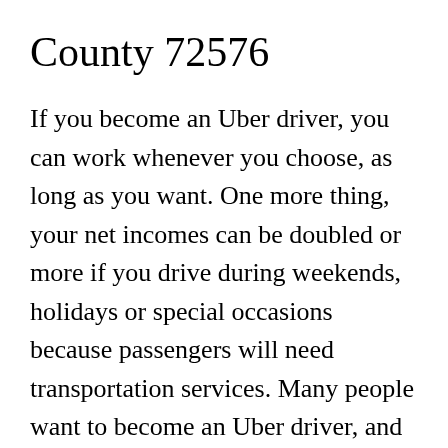County 72576
If you become an Uber driver, you can work whenever you choose, as long as you want. One more thing, your net incomes can be doubled or more if you drive during weekends, holidays or special occasions because passengers will need transportation services. Many people want to become an Uber driver, and one thing that they should contemplate first is to look at the amount of money that they can earn if they render their service. The benefits of becoming an Uber driver can